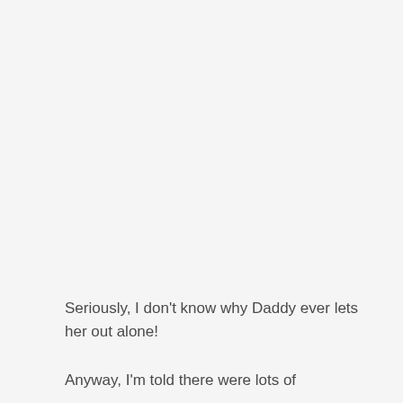Seriously, I don't know why Daddy ever lets her out alone!
Anyway, I'm told there were lots of